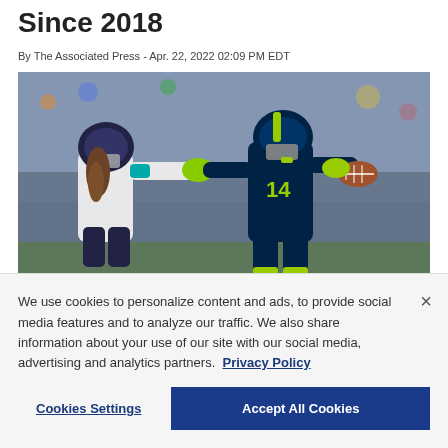Since 2018
By The Associated Press - Apr. 22, 2022 02:09 PM EDT
[Figure (photo): NFL football action photo showing a Seattle Seahawks player (number 14) running with the ball while being grabbed by a Jacksonville Jaguars defender. Both players are in full uniform on a game field with a crowd in the background.]
We use cookies to personalize content and ads, to provide social media features and to analyze our traffic. We also share information about your use of our site with our social media, advertising and analytics partners. Privacy Policy
Cookies Settings
Accept All Cookies